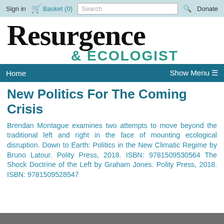Sign in  Basket (0)  Search  Donate
Resurgence & ECOLOGIST
Home  Show Menu ≡
New Politics For The Coming Crisis
Brendan Montague examines two attempts to move beyond the traditional left and right in the face of mounting ecological disruption. Down to Earth: Politics in the New Climatic Regime by Bruno Latour. Polity Press, 2018. ISBN: 9781509530564 The Shock Doctrine of the Left by Graham Jones. Polity Press, 2018. ISBN: 9781509528547
[Figure (photo): Partial image visible at the bottom of the page]